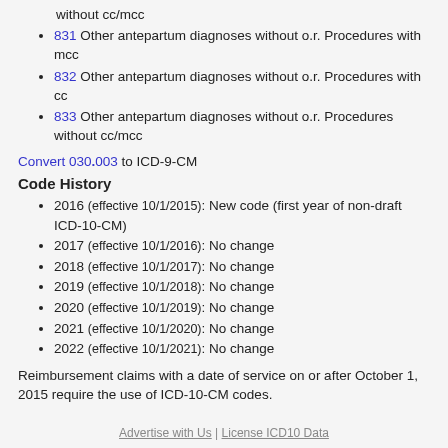without cc/mcc
831 Other antepartum diagnoses without o.r. Procedures with mcc
832 Other antepartum diagnoses without o.r. Procedures with cc
833 Other antepartum diagnoses without o.r. Procedures without cc/mcc
Convert 030.003 to ICD-9-CM
Code History
2016 (effective 10/1/2015): New code (first year of non-draft ICD-10-CM)
2017 (effective 10/1/2016): No change
2018 (effective 10/1/2017): No change
2019 (effective 10/1/2018): No change
2020 (effective 10/1/2019): No change
2021 (effective 10/1/2020): No change
2022 (effective 10/1/2021): No change
Reimbursement claims with a date of service on or after October 1, 2015 require the use of ICD-10-CM codes.
Advertise with Us | License ICD10 Data